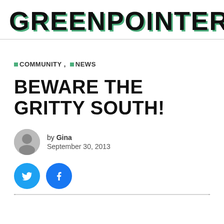GREENPOINTERS
COMMUNITY, NEWS
BEWARE THE GRITTY SOUTH!
by Gina
September 30, 2013